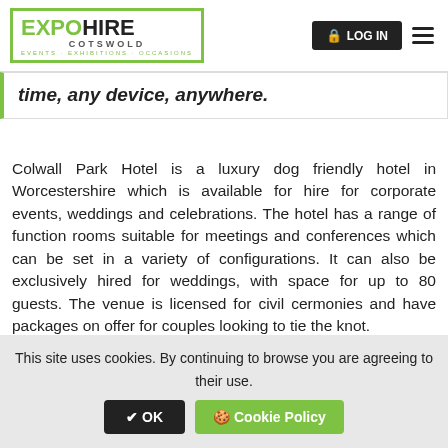EXPO HIRE COTSWOLD - EVENTS · EXHIBITIONS · OCCASIONS | LOG IN
time, any device, anywhere.
Colwall Park Hotel is a luxury dog friendly hotel in Worcestershire which is available for hire for corporate events, weddings and celebrations. The hotel has a range of function rooms suitable for meetings and conferences which can be set in a variety of configurations. It can also be exclusively hired for weddings, with space for up to 80 guests. The venue is licensed for civil cermonies and have packages on offer for couples looking to tie the knot.
We're proud to deliver event hire to Colwall Park Hotel.
This site uses cookies. By continuing to browse you are agreeing to their use. ✔ OK   🍪 Cookie Policy